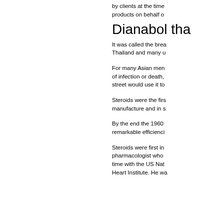by clients at the time products on behalf o
Dianabol tha
It was called the brea Thailand and many u
For many Asian men of infection or death, street would use it to
Steroids were the firs manufacture and in s
By the end the 1960 remarkable efficienci
Steroids were first in pharmacologist who time with the US Nat Heart Institute. He wa